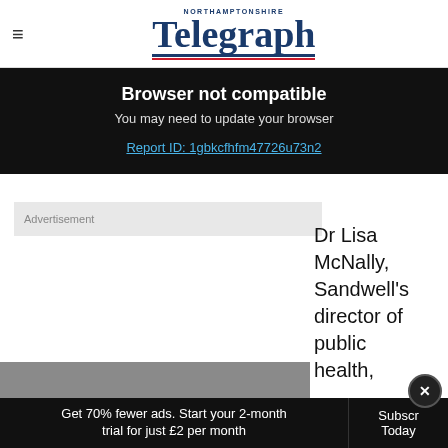Northamptonshire Telegraph
Browser not compatible
You may need to update your browser
Report ID: 1gbkcfhfm47726u73n2
Advertisement
Dr Lisa McNally, Sandwell's director of public health,
Get 70% fewer ads. Start your 2-month trial for just £2 per month
Subscribe Today